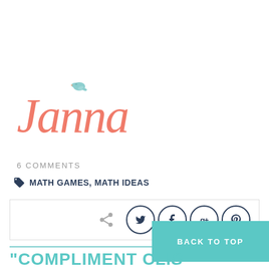[Figure (logo): Cursive script logo reading 'Janna' in coral/salmon color with a small teal bird sitting on top of the letter n]
6 COMMENTS
MATH GAMES, MATH IDEAS
[Figure (infographic): Share bar with share arrow icon and four circular social media buttons: Twitter, Facebook, Google+, Pinterest]
BACK TO TOP
"COMPLIMENT CLI...